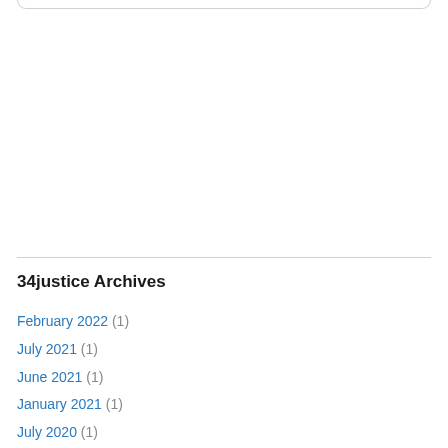34justice Archives
February 2022 (1)
July 2021 (1)
June 2021 (1)
January 2021 (1)
July 2020 (1)
June 2020 (1)